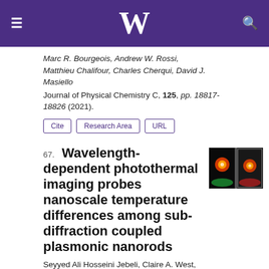University of Washington header with W logo, menu icon, and search icon
Marc R. Bourgeois, Andrew W. Rossi, Matthieu Chalifour, Charles Cherqui, David J. Masiello
Journal of Physical Chemistry C, 125, pp. 18817-18826 (2021).
Cite | Research Area | URL
67. Wavelength-dependent photothermal imaging probes nanoscale temperature differences among sub-diffraction coupled plasmonic nanorods
[Figure (photo): Thumbnail image showing photothermal imaging of nanorods, two panels with orange/red heat maps on black background with green and red spectral beams]
Seyyed Ali Hosseini Jebeli, Claire A. West, Stephen A. Lee, Harrison J. Goldwyn,